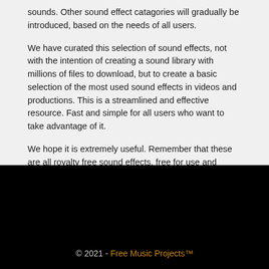sounds. Other sound effect catagories will gradually be introduced, based on the needs of all users.
We have curated this selection of sound effects, not with the intention of creating a sound library with millions of files to download, but to create a basic selection of the most used sound effects in videos and productions. This is a streamlined and effective resource. Fast and simple for all users who want to take advantage of it.
We hope it is extremely useful. Remember that these are all royalty free sound effects, free for use and completely free of charge.
© 2021 - Free Music Projects™